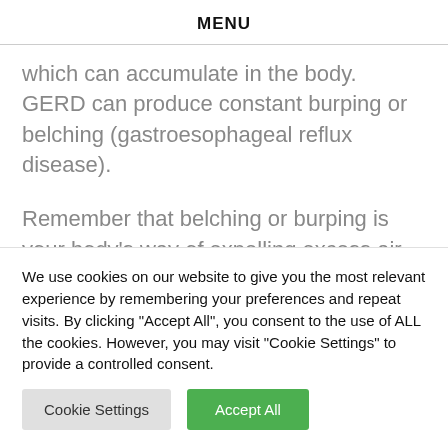MENU
which can accumulate in the body. GERD can produce constant burping or belching (gastroesophageal reflux disease).
Remember that belching or burping is your body’s way of expelling excess air from your stomach. It’s a normal reaction to inhaling air. You may swallow too much air if you eat or drink
We use cookies on our website to give you the most relevant experience by remembering your preferences and repeat visits. By clicking “Accept All”, you consent to the use of ALL the cookies. However, you may visit “Cookie Settings” to provide a controlled consent.